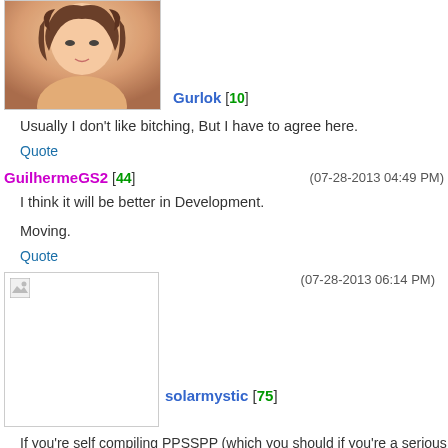[Figure (photo): User avatar for Gurlok - anime style portrait of a girl with brown hair]
Gurlok [10]
Usually I don't like bitching, But I have to agree here.
Quote
GuilhermeGS2 [44]
(07-28-2013 04:49 PM)
I think it will be better in Development.
Moving.
Quote
[Figure (photo): Broken/failed avatar image placeholder]
solarmystic [75]
(07-28-2013 06:14 PM)
If you're self compiling PPSSPP (which you should if you're a serious tester and developer), you can revert the changes by opening the project in your favourite C++ compiler program (e.g. Visual Studio C++ 2010/2012) and changing the following two lines located in UI\Screens\EmuScreen.cpp:-
Line 527 from